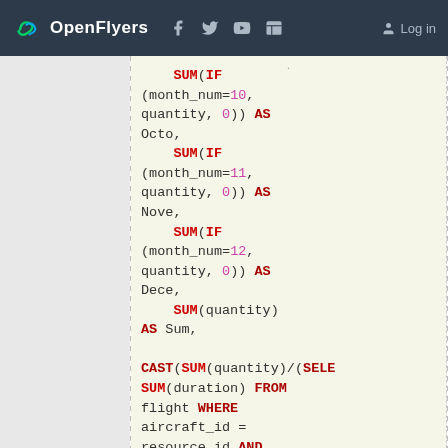OpenFlyers  Log in
[Figure (screenshot): SQL code snippet showing SUM(IF(...)) aggregate queries for months 10, 11, 12, SUM(quantity) AS Sum, and a CAST(SUM(quantity)/(SELECT SUM(duration) FROM flight WHERE aircraft_id = resource_id AND YEAR(start_date) = $year)*600 AS DECIMAL(10,2)) AS Consumption, followed by FROM (SELECT]